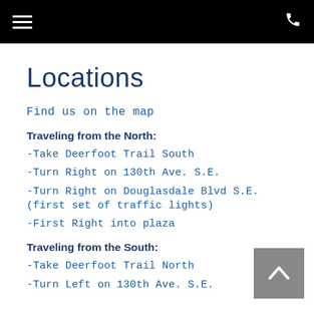≡  ☎
Locations
Find us on the map
Traveling from the North:
-Take Deerfoot Trail South
-Turn Right on 130th Ave. S.E.
-Turn Right on Douglasdale Blvd S.E. (first set of traffic lights)
-First Right into plaza
Traveling from the South:
-Take Deerfoot Trail North
-Turn Left on 130th Ave. S.E.